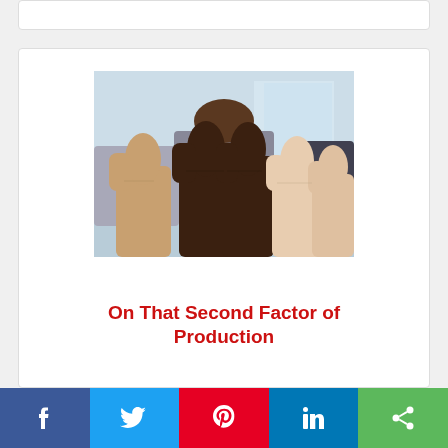[Figure (photo): Group of people in business attire giving thumbs up, multiple hands of different skin tones raised toward camera]
On That Second Factor of Production
[Figure (infographic): Social media share bar with Facebook, Twitter, Pinterest, LinkedIn, and share buttons]